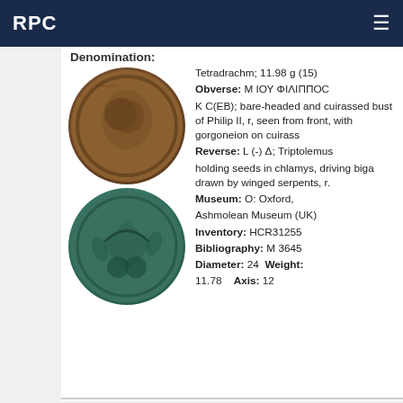RPC
Denomination:
Tetradrachm; 11.98 g (15)
Obverse: M ΙΟΥ ΦΙΛΙΠΠΟС
K C(ΕΒ); bare-headed and cuirassed bust of Philip II, r, seen from front, with gorgoneion on cuirass
Reverse: L (-) Δ; Triptolemus holding seeds in chlamys, driving biga drawn by winged serpents, r.
Museum: O: Oxford, Ashmolean Museum (UK)
Inventory: HCR31255
Bibliography: M 3645
Diameter: 24  Weight: 11.78   Axis: 12
[Figure (photo): Obverse of ancient Roman coin, brown/bronze, showing portrait bust facing right]
[Figure (photo): Reverse of ancient Roman coin, green/teal patina, showing Triptolemus driving biga drawn by winged serpents]